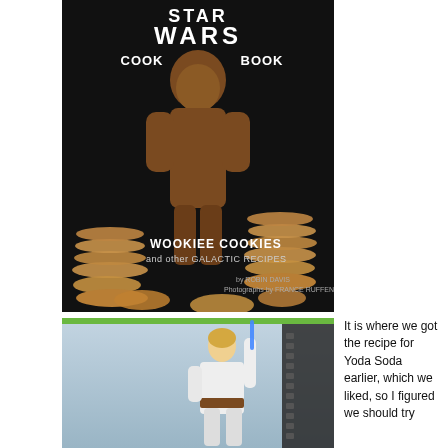[Figure (photo): Cover of the 'Star Wars Cook Book: Wookiee Cookies and other Galactic Recipes' showing a Chewbacca figure surrounded by stacked cookies on a dark background]
[Figure (photo): A Star Wars Luke Skywalker action figure in white outfit posed with a lightsaber]
It is where we got the recipe for Yoda Soda earlier, which we liked, so I figured we should try